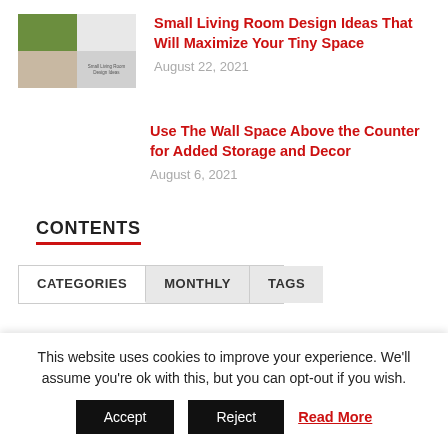[Figure (photo): Thumbnail image collage of small living room design ideas]
Small Living Room Design Ideas That Will Maximize Your Tiny Space
August 22, 2021
Use The Wall Space Above the Counter for Added Storage and Decor
August 6, 2021
CONTENTS
CATEGORIES  MONTHLY  TAGS
This website uses cookies to improve your experience. We'll assume you're ok with this, but you can opt-out if you wish.